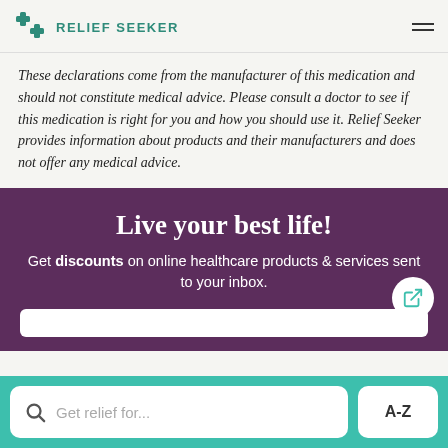RELIEF SEEKER
These declarations come from the manufacturer of this medication and should not constitute medical advice. Please consult a doctor to see if this medication is right for you and how you should use it. Relief Seeker provides information about products and their manufacturers and does not offer any medical advice.
Live your best life!
Get discounts on online healthcare products & services sent to your inbox.
Get relief for...